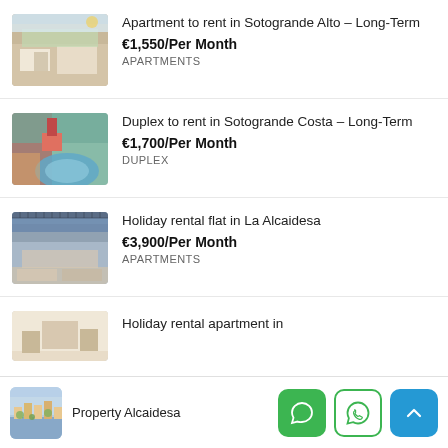Apartment to rent in Sotogrande Alto – Long-Term
€1,550/Per Month
APARTMENTS
Duplex to rent in Sotogrande Costa – Long-Term
€1,700/Per Month
DUPLEX
Holiday rental flat in La Alcaidesa
€3,900/Per Month
APARTMENTS
Holiday rental apartment in Sotogrande Costa
Property Alcaidesa